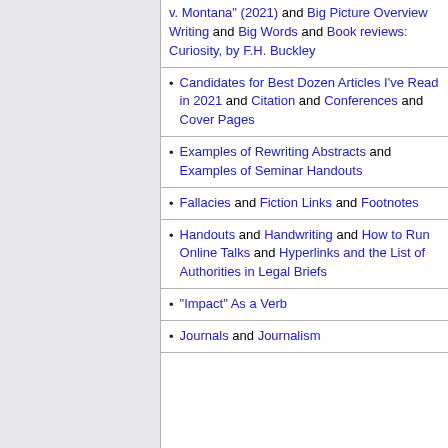v. Montana" (2021) and Big Picture Overview Writing and Big Words and Book reviews: Curiosity, by F.H. Buckley
Candidates for Best Dozen Articles I've Read in 2021 and Citation and Conferences and Cover Pages
Examples of Rewriting Abstracts and Examples of Seminar Handouts
Fallacies and Fiction Links and Footnotes
Handouts and Handwriting and How to Run Online Talks and Hyperlinks and the List of Authorities in Legal Briefs
"Impact" As a Verb
Journals and Journalism